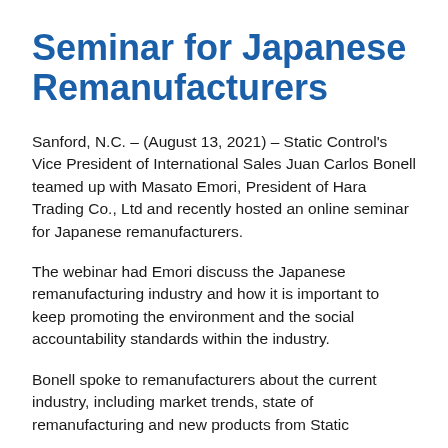Seminar for Japanese Remanufacturers
Sanford, N.C. – (August 13, 2021) – Static Control's Vice President of International Sales Juan Carlos Bonell teamed up with Masato Emori, President of Hara Trading Co., Ltd and recently hosted an online seminar for Japanese remanufacturers.
The webinar had Emori discuss the Japanese remanufacturing industry and how it is important to keep promoting the environment and the social accountability standards within the industry.
Bonell spoke to remanufacturers about the current industry, including market trends, state of remanufacturing and new products from Static